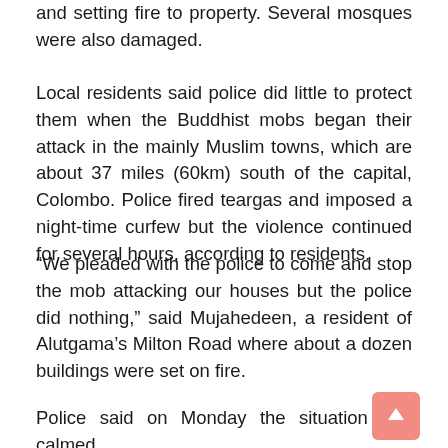and setting fire to property. Several mosques were also damaged.
Local residents said police did little to protect them when the Buddhist mobs began their attack in the mainly Muslim towns, which are about 37 miles (60km) south of the capital, Colombo. Police fired teargas and imposed a night-time curfew but the violence continued for several hours, according to residents.
“We pleaded with the police to come and stop the mob attacking our houses but the police did nothing,” said Mujahedeen, a resident of Alutgama’s Milton Road where about a dozen buildings were set on fire.
Police said on Monday the situation had calmed